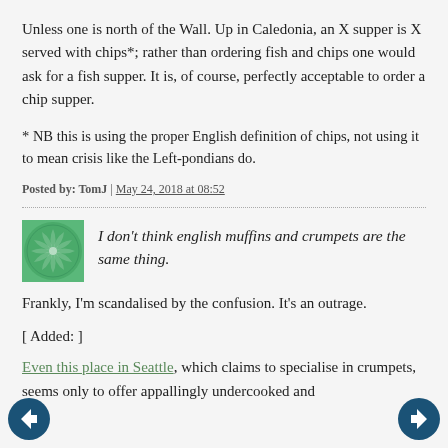Unless one is north of the Wall. Up in Caledonia, an X supper is X served with chips*; rather than ordering fish and chips one would ask for a fish supper. It is, of course, perfectly acceptable to order a chip supper.
* NB this is using the proper English definition of chips, not using it to mean crisis like the Left-pondians do.
Posted by: TomJ | May 24, 2018 at 08:52
[Figure (illustration): Green circular decorative avatar/icon with swirling pattern]
I don't think english muffins and crumpets are the same thing.
Frankly, I'm scandalised by the confusion. It's an outrage.
[ Added: ]
Even this place in Seattle, which claims to specialise in crumpets, seems only to offer appallingly undercooked and